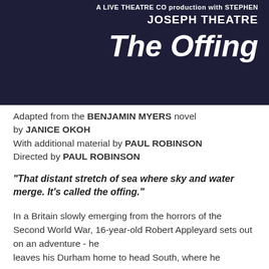A Live Theatre Co production with Stephen Joseph Theatre
The Offing
Adapted from the BENJAMIN MYERS novel by JANICE OKOH
With additional material by PAUL ROBINSON
Directed by PAUL ROBINSON
“That distant stretch of sea where sky and water merge. It’s called the offing.”
In a Britain slowly emerging from the horrors of the Second World War, 16-year-old Robert Appleyard sets out on an adventure - he leaves his Durham home to head South, where he